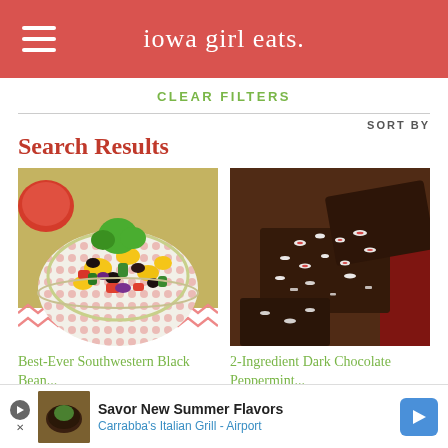iowa girl eats.
CLEAR FILTERS
Search Results
SORT BY
[Figure (photo): Bowl of colorful Southwestern black bean salad with corn, tomatoes, peppers, cilantro]
[Figure (photo): Dark chocolate peppermint bark pieces with crushed candy canes on top]
Best-Ever Southwestern Black Bean...
2-Ingredient Dark Chocolate Peppermint...
Savor New Summer Flavors
Carrabba's Italian Grill - Airport